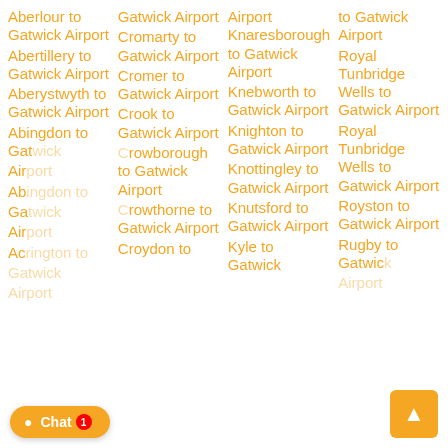Aberlour to Gatwick Airport
Abertillery to Gatwick Airport
Aberystwyth to Gatwick Airport
Abingdon to Gatwick Airport
Ac... Gatwick Airport
Gatwick Airport
Gatwick Airport Cromarty to Gatwick Airport
Cromer to Gatwick Airport
Crook to Gatwick Airport
Crowborough to Gatwick Airport
Crowthorne to Gatwick Airport
Croydon to
Airport Knaresborough to Gatwick Airport
Knebworth to Gatwick Airport
Knighton to Gatwick Airport
Knottingley to Gatwick Airport
Knutsford to Gatwick Airport
Kyle to Gatwick
to Gatwick Airport Royal Tunbridge Wells to Gatwick Airport
Royal Tunbridge Wells to Gatwick Airport
Royston to Gatwick Airport
Rugby to Gatwick Airport